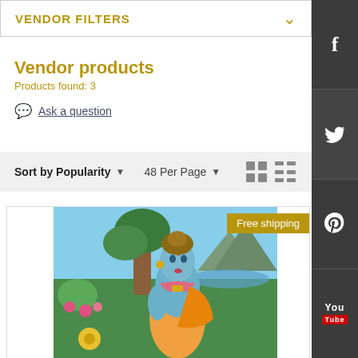VENDOR FILTERS
Vendor products
Products found: 3
Ask a question
Sort by Popularity   48 Per Page
[Figure (illustration): Painting of a Hindu deity (Lord Rama/Krishna) with blue skin, wearing ornaments and a floral garland, set against a lush garden background with a tree, flowers, and mountains. A yellow flower is in the foreground.]
Free shipping